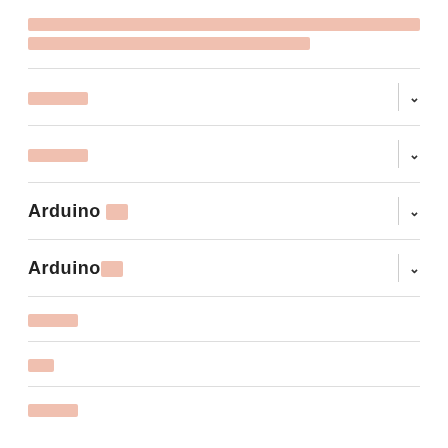[Redacted Chinese text - error/link text in red/salmon color, two lines]
[Menu item 1 - CJK characters with dropdown]
[Menu item 2 - CJK characters with dropdown]
Arduino 관련 [with dropdown]
Arduino관련 [with dropdown]
[Menu item 5 - CJK characters]
[Menu item 6 - CJK characters]
[Menu item 7 - CJK characters]